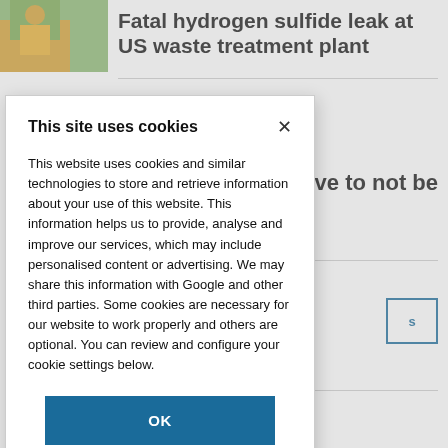[Figure (photo): Person in yellow jacket outdoors, cropped thumbnail image in top-left corner of background page]
Fatal hydrogen sulfide leak at US waste treatment plant
have to not be
This site uses cookies
This website uses cookies and similar technologies to store and retrieve information about your use of this website. This information helps us to provide, analyse and improve our services, which may include personalised content or advertising. We may share this information with Google and other third parties. Some cookies are necessary for our website to work properly and others are optional. You can review and configure your cookie settings below.
OK
COOKIE SETTINGS